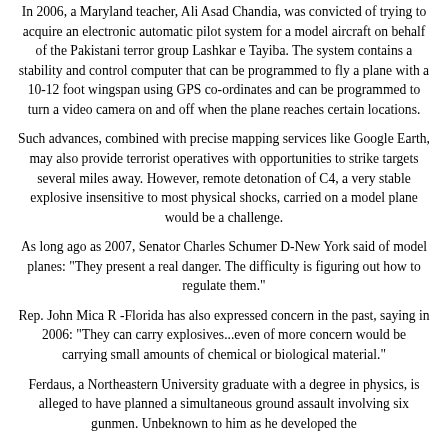In 2006, a Maryland teacher, Ali Asad Chandia, was convicted of trying to acquire an electronic automatic pilot system for a model aircraft on behalf of the Pakistani terror group Lashkar e Tayiba. The system contains a stability and control computer that can be programmed to fly a plane with a 10-12 foot wingspan using GPS co-ordinates and can be programmed to turn a video camera on and off when the plane reaches certain locations.
Such advances, combined with precise mapping services like Google Earth, may also provide terrorist operatives with opportunities to strike targets several miles away. However, remote detonation of C4, a very stable explosive insensitive to most physical shocks, carried on a model plane would be a challenge.
As long ago as 2007, Senator Charles Schumer D-New York said of model planes: "They present a real danger. The difficulty is figuring out how to regulate them."
Rep. John Mica R -Florida has also expressed concern in the past, saying in 2006: "They can carry explosives...even of more concern would be carrying small amounts of chemical or biological material."
Ferdaus, a Northeastern University graduate with a degree in physics, is alleged to have planned a simultaneous ground assault involving six gunmen. Unbeknown to him as he developed the